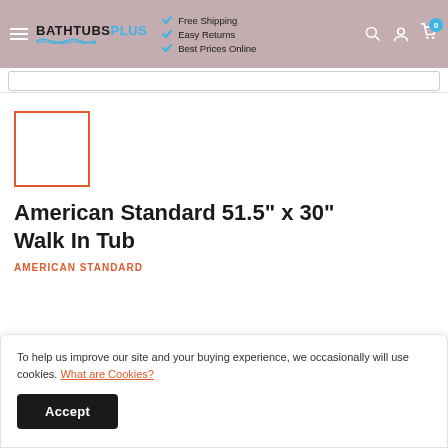BATHTUBSPLUS — Free Shipping, Easy Returns, Best Prices Online
[Figure (screenshot): Thumbnail image placeholder with orange border]
American Standard 51.5" x 30" Walk In Tub
AMERICAN STANDARD
To help us improve our site and your buying experience, we occasionally will use cookies. What are Cookies?
Accept